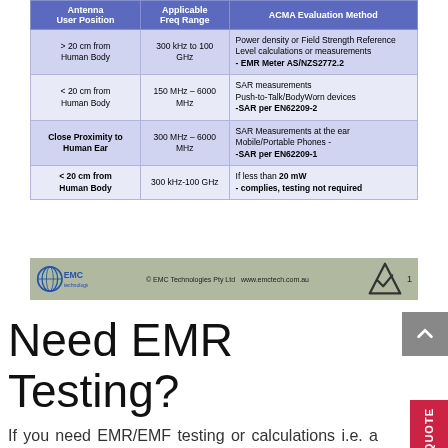| Antenna User Position | Applicable Freq Range | ACMA Evaluation Method |
| --- | --- | --- |
| > 20 cm from Human Body | 300 kHz to 100 GHz | Power density or Field Strength Reference Level calculations or measurements
- EMR Meter AS/NZS2772.2 |
| < 20 cm from Human Body | 150 MHz – 6000 MHz | SAR measurements
Push-to-Talk/BodyWorn devices
-SAR per EN62209-2 |
| Close Proximity to Human Ear | 300 MHz – 6000 MHz | SAR Measurements at the ear
Mobile/Portable Phones -
-SAR per EN62209-1 |
| < 20 cm from Human Body | 300 kHz-100 GHz | If less than 20 mW
- complies, testing not required |
[Figure (logo): EMC Technologies logo and footer bar with ACMA tick mark]
Need EMR Testing?
If you need EMR/EMF testing or calculations i.e. a high power transmitter (TV, Radio, 3G, 4G base station etc), infra-structure or place of work operating further than 20cm from human body then visit our dedicated EM